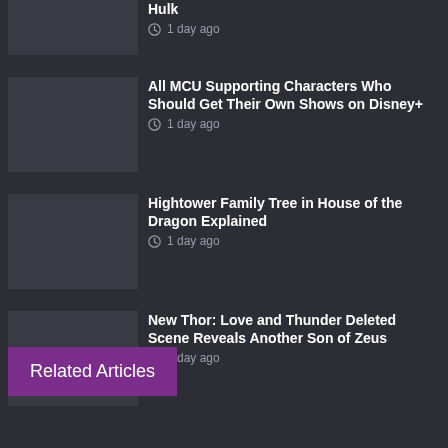Hulk
1 day ago
All MCU Supporting Characters Who Should Get Their Own Shows on Disney+
1 day ago
Hightower Family Tree in House of the Dragon Explained
1 day ago
New Thor: Love and Thunder Deleted Scene Reveals Another Son of Zeus
1 day ago
Related Articles